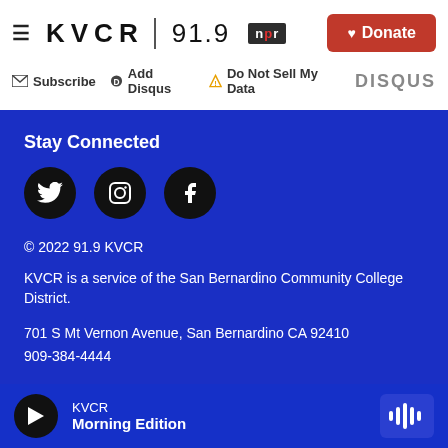KVCR 91.9 NPR | Donate
Subscribe  Add Disqus  Do Not Sell My Data  DISQUS
Stay Connected
[Figure (other): Social media icons: Twitter, Instagram, Facebook]
© 2022 91.9 KVCR
KVCR is a service of the San Bernardino Community College District.
701 S Mt Vernon Avenue, San Bernardino CA 92410
909-384-4444
Contact Us
KVCR
Morning Edition